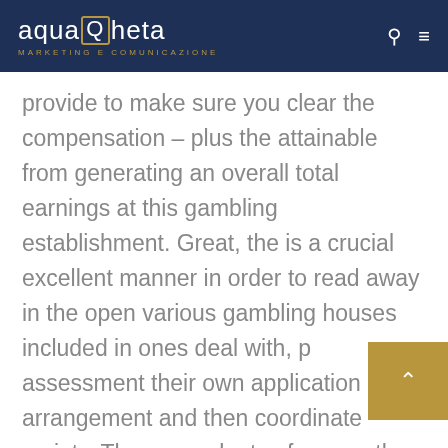aquaQheta MARKETING E COMUNICAZIONE
provide to make sure you clear the compensation – plus the attainable from generating an overall total earnings at this gambling establishment. Great, the is a crucial excellent manner in order to read away in the open various gambling houses included in ones deal with, p assessment their own application arrangement and then coordinate variety. There are plenty of some other frequent